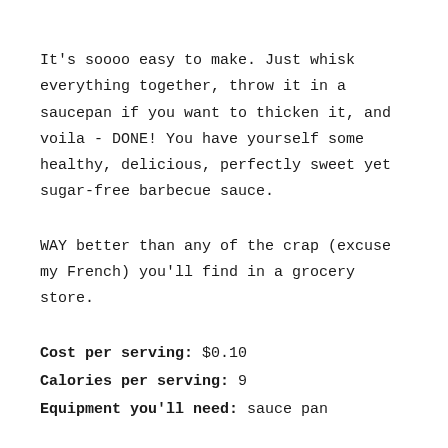It's soooo easy to make. Just whisk everything together, throw it in a saucepan if you want to thicken it, and voila - DONE! You have yourself some healthy, delicious, perfectly sweet yet sugar-free barbecue sauce.
WAY better than any of the crap (excuse my French) you'll find in a grocery store.
Cost per serving: $0.10
Calories per serving: 9
Equipment you'll need: sauce pan